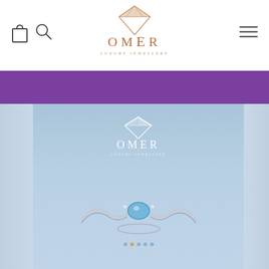[Figure (logo): Omer Luxury Jewellery logo with diamond icon on top, text OMER below in copper/rose gold color, and 'LUXURY JEWELLERY' subtitle in smaller letters]
[Figure (illustration): Navigation header with shopping bag icon and search icon on left, hamburger menu icon on right, and Omer logo centered]
[Figure (photo): Purple banner bar below the header]
[Figure (photo): Large center panel with light blue/steel background showing Omer white logo watermark and a silver ring with blue topaz gemstone placed on a white surface, with navigation dots at bottom]